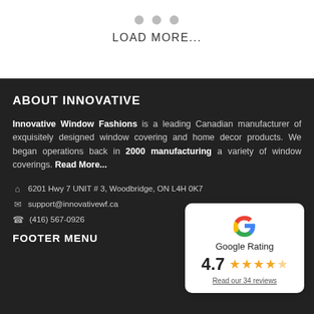[Figure (other): Three gray dots (pagination indicators) above a LOAD MORE... button]
LOAD MORE...
ABOUT INNOVATIVE
Innovative Window Fashions is a leading Canadian manufacturer of exquisitely designed window covering and home decor products. We began operations back in 2000 manufacturing a variety of window coverings. Read More...
6201 Hwy 7 UNIT # 3, Woodbridge, ON L4H 0K7
support@innovativewf.ca
(416) 567-0926
[Figure (other): Google Rating card showing 4.7 stars out of 5, with 5 gold stars and text 'Read our 34 reviews']
FOOTER MENU